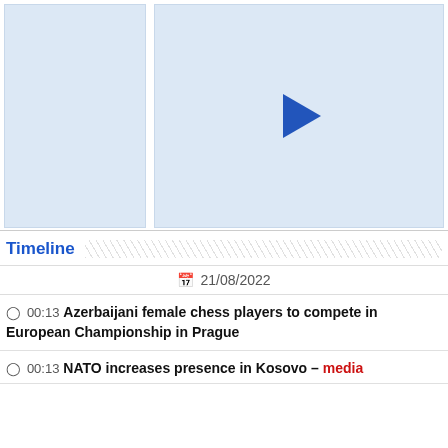[Figure (screenshot): Left panel: light blue placeholder rectangle (image thumbnail area). Right panel: light blue placeholder rectangle with a blue play button triangle in the center — a video thumbnail placeholder.]
Timeline
21/08/2022
00:13 Azerbaijani female chess players to compete in European Championship in Prague
00:13 NATO increases presence in Kosovo – media